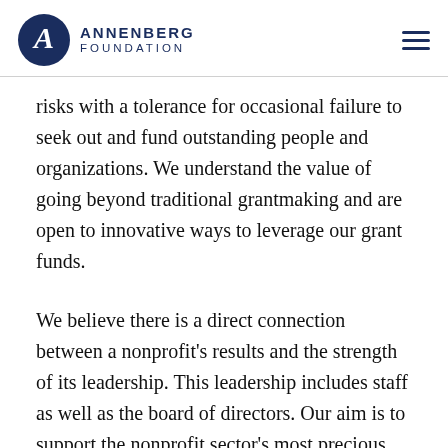Annenberg Foundation
risks with a tolerance for occasional failure to seek out and fund outstanding people and organizations. We understand the value of going beyond traditional grantmaking and are open to innovative ways to leverage our grant funds.
We believe there is a direct connection between a nonprofit's results and the strength of its leadership. This leadership includes staff as well as the board of directors. Our aim is to support the nonprofit sector's most precious asset: its people. We take an all-encompassing look at the people, infrastructure, values, practices and policies that the staff and board embrace and promote for organizational